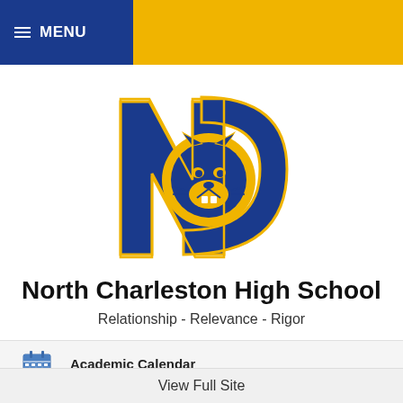≡ MENU
[Figure (logo): North Charleston High School mascot logo: large navy letter N with a golden cougar head inside a navy C, outlined in gold]
North Charleston High School
Relationship - Relevance - Rigor
Academic Calendar
View Full Site